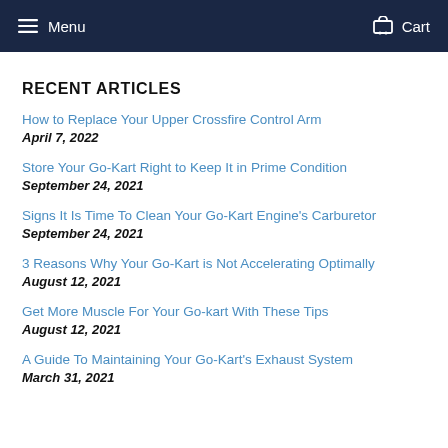Menu   Cart
RECENT ARTICLES
How to Replace Your Upper Crossfire Control Arm
April 7, 2022
Store Your Go-Kart Right to Keep It in Prime Condition
September 24, 2021
Signs It Is Time To Clean Your Go-Kart Engine's Carburetor
September 24, 2021
3 Reasons Why Your Go-Kart is Not Accelerating Optimally
August 12, 2021
Get More Muscle For Your Go-kart With These Tips
August 12, 2021
A Guide To Maintaining Your Go-Kart's Exhaust System
March 31, 2021